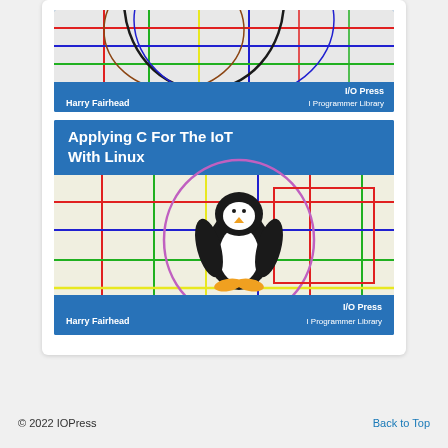[Figure (illustration): Top portion of a book cover for an I/O Press / I Programmer Library book by Harry Fairhead, showing a colorful grid pattern with overlapping curves]
[Figure (illustration): Book cover titled 'Applying C For The IoT With Linux' by Harry Fairhead, published by I/O Press / I Programmer Library. Shows the Linux Tux penguin mascot against a colorful grid background.]
© 2022 IOPress
Back to Top